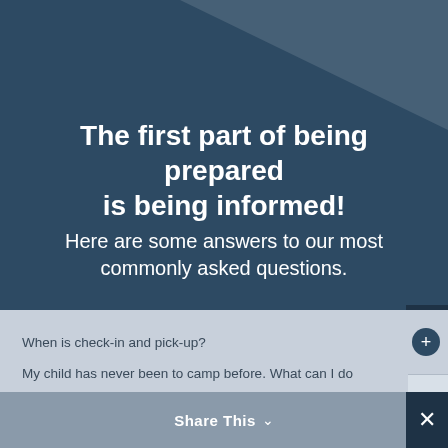The first part of being prepared is being informed!
Here are some answers to our most commonly asked questions.
When is check-in and pick-up?
Who will be the counselors?
My child has never been to camp before. What can I do
Share This